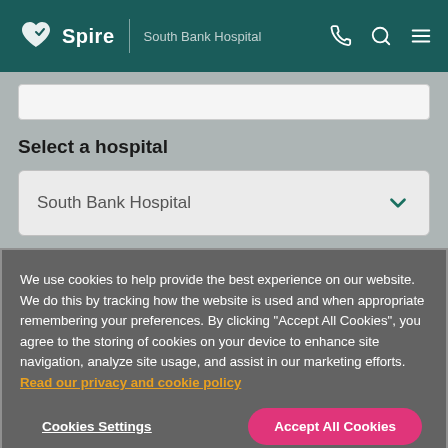Spire | South Bank Hospital
Select a hospital
South Bank Hospital
We use cookies to help provide the best experience on our website. We do this by tracking how the website is used and when appropriate remembering your preferences. By clicking "Accept All Cookies", you agree to the storing of cookies on your device to enhance site navigation, analyze site usage, and assist in our marketing efforts. Read our privacy and cookie policy
Cookies Settings
Accept All Cookies